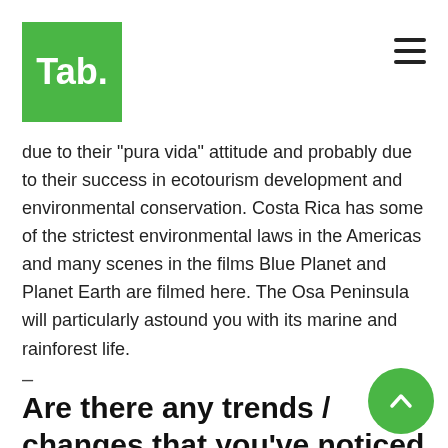Tab.
due to their "pura vida" attitude and probably due to their success in ecotourism development and environmental conservation. Costa Rica has some of the strictest environmental laws in the Americas and many scenes in the films Blue Planet and Planet Earth are filmed here. The Osa Peninsula will particularly astound you with its marine and rainforest life.
–
Are there any trends / changes that you've noticed in tourism?
From our perspective, many people are looking to spend less money on their accommodation and more money on tours